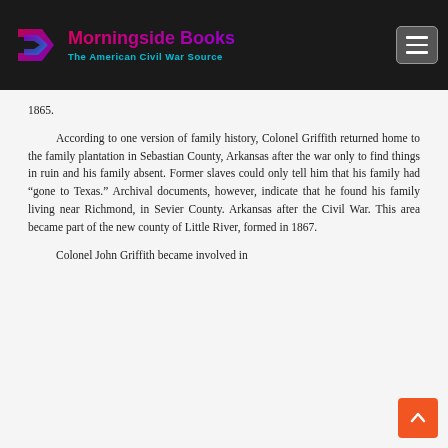Morningside Books — The American Civil War Source
1865.
According to one version of family history, Colonel Griffith returned home to the family plantation in Sebastian County, Arkansas after the war only to find things in ruin and his family absent. Former slaves could only tell him that his family had “gone to Texas.” Archival documents, however, indicate that he found his family living near Richmond, in Sevier County. Arkansas after the Civil War. This area became part of the new county of Little River, formed in 1867.
Colonel John Griffith became involved in